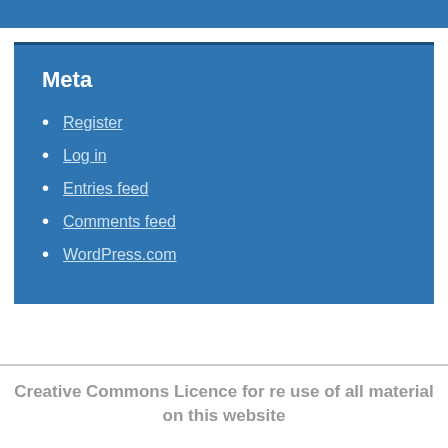Meta
Register
Log in
Entries feed
Comments feed
WordPress.com
Creative Commons Licence for re use of all material on this website